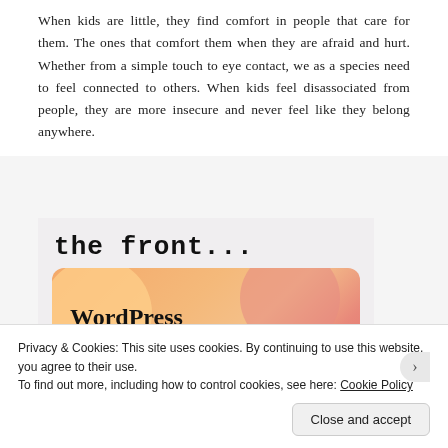When kids are little, they find comfort in people that care for them. The ones that comfort them when they are afraid and hurt. Whether from a simple touch to eye contact, we as a species need to feel connected to others. When kids feel disassociated from people, they are more insecure and never feel like they belong anywhere.
[Figure (screenshot): A screenshot showing 'the front...' in monospace text at top, and a colorful banner image with orange/pink/purple blended circles background and bold serif text reading 'WordPress in the back.']
Privacy & Cookies: This site uses cookies. By continuing to use this website, you agree to their use.
To find out more, including how to control cookies, see here: Cookie Policy